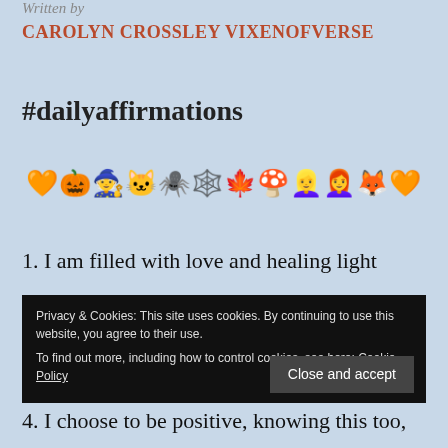Written by
CAROLYN CROSSLEY VIXENOFVERSE
#dailyaffirmations
[Figure (illustration): Row of emojis: orange heart, jack-o-lantern, witch, cat, spider, spider web, maple leaf, mushroom, blonde woman, red-haired woman, fox, orange heart]
1. I am filled with love and healing light
2.
3.
4. I choose to be positive, knowing this too,
Privacy & Cookies: This site uses cookies. By continuing to use this website, you agree to their use. To find out more, including how to control cookies, see here: Cookie Policy